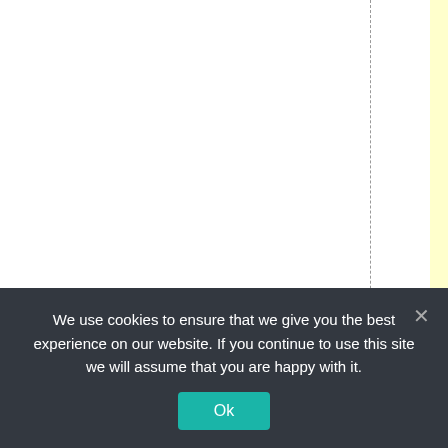ng about what they'd d
We use cookies to ensure that we give you the best experience on our website. If you continue to use this site we will assume that you are happy with it.
Ok